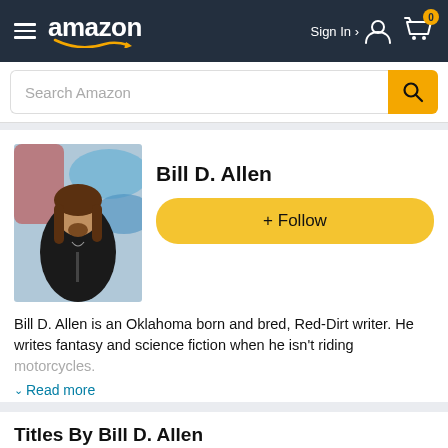amazon — Sign In — Cart 0
Search Amazon
[Figure (photo): Author photo of Bill D. Allen — man with long brown hair and goatee wearing a black leather jacket, in front of a colorful graffiti mural]
Bill D. Allen
+ Follow
Bill D. Allen is an Oklahoma born and bred, Red-Dirt writer. He writes fantasy and science fiction when he isn't riding motorcycles.
Read more
Titles By Bill D. Allen
[Figure (photo): Three book cover thumbnails partially visible at the bottom of the page]